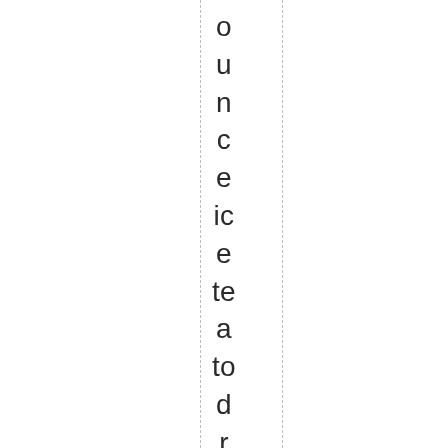o u n c e ic e te a to d r o w n m y c h a g ri n o n